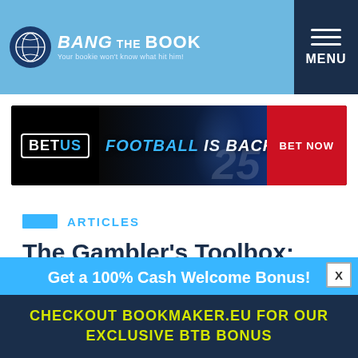Bang The Book — Your bookie won't know what hit him!
[Figure (screenshot): BetUS advertisement banner — FOOTBALL IS BACK, BET NOW]
ARTICLES
The Gambler's Toolbox: Know Thy Enemy
Get a 100% Cash Welcome Bonus!
CHECKOUT BOOKMAKER.EU FOR OUR EXCLUSIVE BTB BONUS